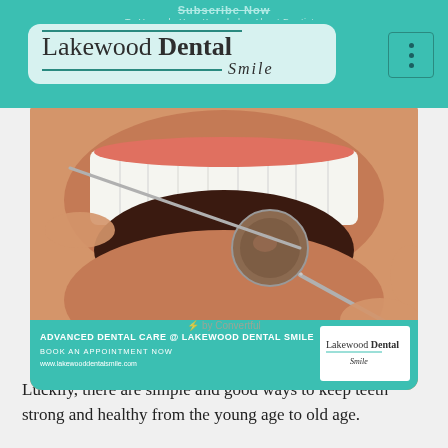Subscribe Now
To Upgrade Your Knowledge About Dentistry
Lakewood Dental Smile
[Figure (photo): Close-up dental examination photo showing a patient's open mouth with white teeth, a dental mirror and probe held by a clinician's hand, with teal banner overlay reading 'ADVANCED DENTAL CARE @ LAKEWOOD DENTAL SMILE / BOOK AN APPOINTMENT NOW / www.lakewooddentalsmile.com' and Lakewood Dental Smile logo on the right side.]
⚡ by Convertful
Luckily, there are simple and good ways to keep teeth strong and healthy from the young age to old age.